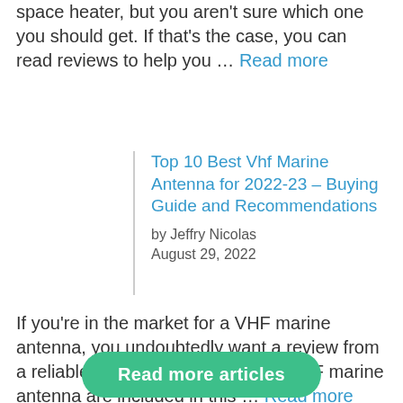space heater, but you aren't sure which one you should get. If that's the case, you can read reviews to help you … Read more
Top 10 Best Vhf Marine Antenna for 2022-23 – Buying Guide and Recommendations
by Jeffry Nicolas
August 29, 2022
If you're in the market for a VHF marine antenna, you undoubtedly want a review from a reliable source. The top 10 best VHF marine antenna are included in this … Read more
Read more articles